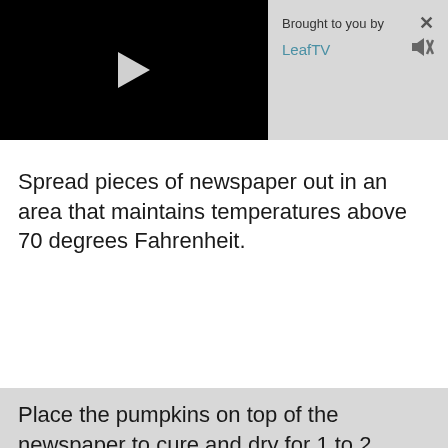[Figure (screenshot): Video player widget showing a black video player on the left with a white play button, and a gray info panel on the right reading 'Brought to you by LeafTV' with a close (X) button and a mute button.]
Spread pieces of newspaper out in an area that maintains temperatures above 70 degrees Fahrenheit.
Place the pumpkins on top of the newspaper to cure and dry for 1 to 2 weeks. The skin should